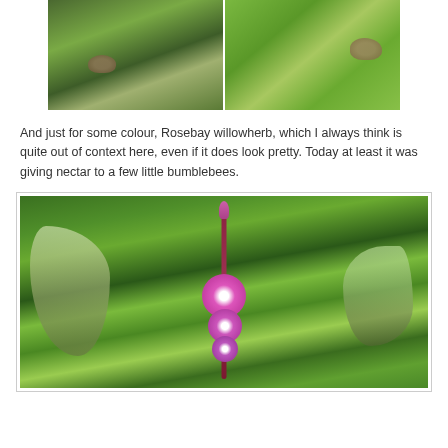[Figure (photo): Two side-by-side nature photos at the top: left shows a brown butterfly or moth camouflaged in green grass, right shows a butterfly resting on large green leaves with spots]
And just for some colour, Rosebay willowherb, which I always think is quite out of context here, even if it does look pretty. Today at least it was giving nectar to a few little bumblebees.
[Figure (photo): Close-up photograph of Rosebay willowherb (Chamerion angustifolium) with bright pink/purple flowers on a tall stem, set against a lush green background]